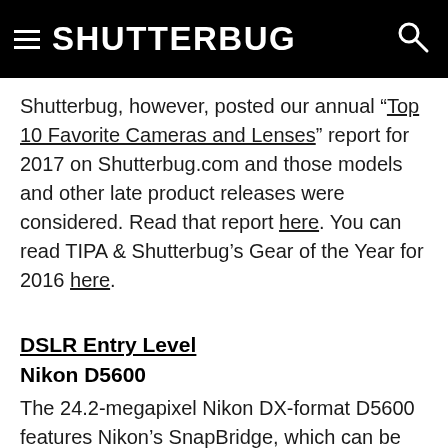SHUTTERBUG
Shutterbug, however, posted our annual “Top 10 Favorite Cameras and Lenses” report for 2017 on Shutterbug.com and those models and other late product releases were considered. Read that report here. You can read TIPA & Shutterbug’s Gear of the Year for 2016 here.
DSLR Entry Level
Nikon D5600
The 24.2-megapixel Nikon DX-format D5600 features Nikon’s SnapBridge, which can be used for remote shooting and to automatically transfer images from the camera to a compatible